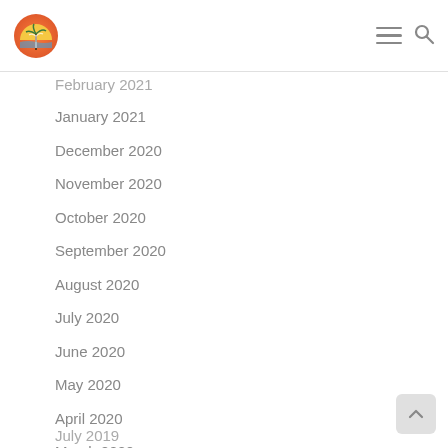Website navigation header with logo and menu/search icons
February 2021
January 2021
December 2020
November 2020
October 2020
September 2020
August 2020
July 2020
June 2020
May 2020
April 2020
March 2020
February 2020
January 2020
December 2019
November 2019
October 2019
September 2019
August 2019
July 2019